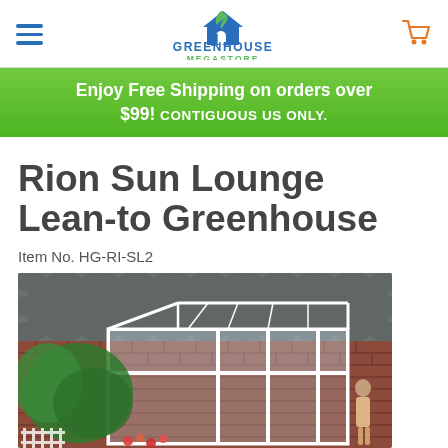Greenhouse Megastore navigation header with hamburger menu and cart icon
Enjoy Free Shipping on orders over $99! CONTIGUOUS US ONLY.
Rion Sun Lounge Lean-to Greenhouse
Item No. HG-RI-SL2
[Figure (photo): Rion Sun Lounge Lean-to Greenhouse installed against a brick wall exterior, with white aluminum frame and glass panels, a woman visible at the entrance, surrounded by greenery]